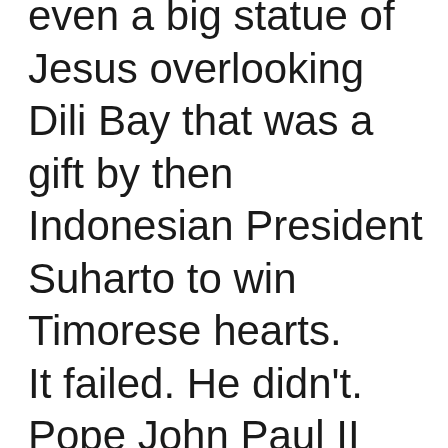even a big statue of Jesus overlooking Dili Bay that was a gift by then Indonesian President Suharto to win Timorese hearts.
It failed. He didn't.
Pope John Paul II visited